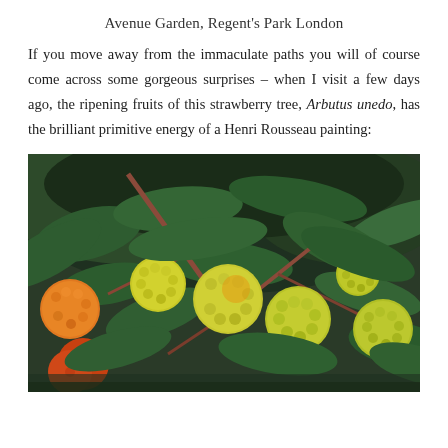Avenue Garden, Regent's Park London
If you move away from the immaculate paths you will of course come across some gorgeous surprises – when I visit a few days ago, the ripening fruits of this strawberry tree, Arbutus unedo, has the brilliant primitive energy of a Henri Rousseau painting:
[Figure (photo): Close-up photograph of ripening Arbutus unedo (strawberry tree) fruits among dark green leaves. The fruits are bumpy and spherical, ranging in color from green to yellow-orange to orange-red, hanging on reddish-brown branches.]